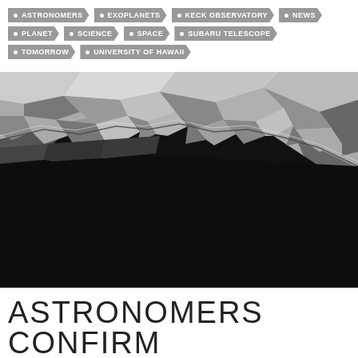ASTRONOMERS • EXOPLANETS • KECK OBSERVATORY • NEWS • PLANET • SCIENCE • SPACE • SUBARU TELESCOPE • TOMORROW • UNIVERSITY OF HAWAII
[Figure (illustration): Close-up illustration of a rocky asteroid surface curving diagonally from upper-left to lower-right against a starfield background, with a bright glowing star or planet visible in the lower-center area.]
ASTRONOMERS CONFIRM